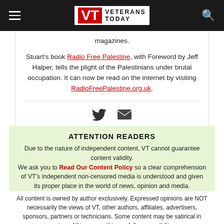[Figure (logo): Veterans Today logo with hamburger menu icon and search icon on dark header bar]
magazines.
Stuart's book Radio Free Palestine, with Foreword by Jeff Halper, tells the plight of the Palestinians under brutal occupation. It can now be read on the internet by visiting RadioFreePalestine.org.uk.
[Figure (infographic): Twitter bird icon and envelope/email icon for social sharing]
ATTENTION READERS
Due to the nature of independent content, VT cannot guarantee content validity. We ask you to Read Our Content Policy so a clear comprehension of VT's independent non-censored media is understood and given its proper place in the world of news, opinion and media.
All content is owned by author exclusively. Expressed opinions are NOT necessarily the views of VT, other authors, affiliates, advertisers, sponsors, partners or technicians. Some content may be satirical in nature. All images within are full responsibility